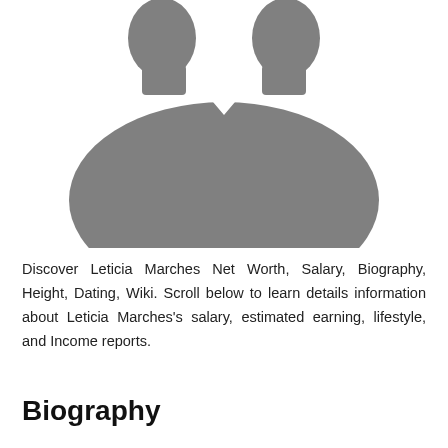[Figure (illustration): Generic gray silhouette icon of a person (two heads/shoulders, gender-neutral placeholder avatar)]
Discover Leticia Marches Net Worth, Salary, Biography, Height, Dating, Wiki. Scroll below to learn details information about Leticia Marches's salary, estimated earning, lifestyle, and Income reports.
Biography